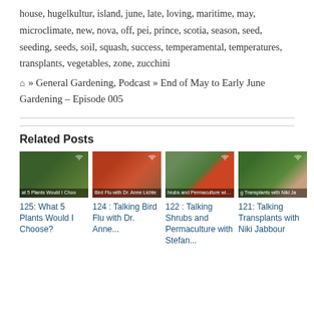house, hugelkultur, island, june, late, loving, maritime, may, microclimate, new, nova, off, pei, prince, scotia, season, seed, seeding, seeds, soil, squash, success, temperamental, temperatures, transplants, vegetables, zone, zucchini
🏠 » General Gardening, Podcast » End of May to Early June Gardening – Episode 005
Related Posts
[Figure (photo): Four thumbnail images for related podcast posts: (1) plant seedling with label 'at 5 Plants Would I Choo', (2) red/orange chicken with label 'Bird Flu with Dr. Anne Lichte', (3) man in red shirt smiling with label 'hrubs and Permaculture with Stefan S', (4) woman with label 'g Transplants with Niki Ja'. Each has a wifi-style podcast icon overlay.]
125: What 5 Plants Would I Choose?
124 : Talking Bird Flu with Dr. Anne...
122 : Talking Shrubs and Permaculture with Stefan...
121: Talking Transplants with Niki Jabbour